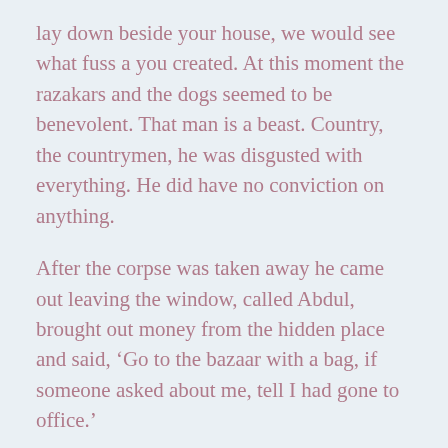lay down beside your house, we would see what fuss a you created. At this moment the razakars and the dogs seemed to be benevolent. That man is a beast. Country, the countrymen, he was disgusted with everything. He did have no conviction on anything.
After the corpse was taken away he came out leaving the window, called Abdul, brought out money from the hidden place and said, ‘Go to the bazaar with a bag, if someone asked about me, tell I had gone to office.’
After Abdul went out for bazaar Mariam asked, ‘what do you mean by this?’
‘I mean you,’ in a flirting tone Jamshed Chowdhury replied. ‘You have announced that I went to office. If I went to go and it was not...